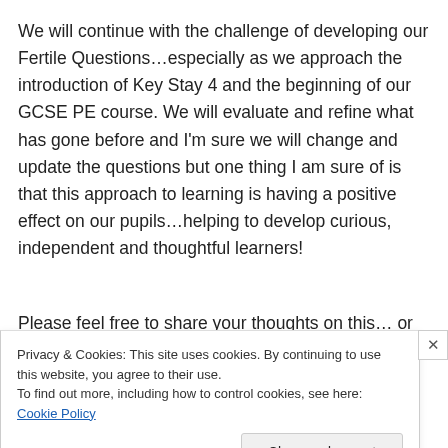We will continue with the challenge of developing our Fertile Questions…especially as we approach the introduction of Key Stay 4 and the beginning of our GCSE PE course. We will evaluate and refine what has gone before and I'm sure we will change and update the questions but one thing I am sure of is that this approach to learning is having a positive effect on our pupils…helping to develop curious, independent and thoughtful learners!
Please feel free to share your thoughts on this… or to ask
Privacy & Cookies: This site uses cookies. By continuing to use this website, you agree to their use.
To find out more, including how to control cookies, see here: Cookie Policy
Close and accept